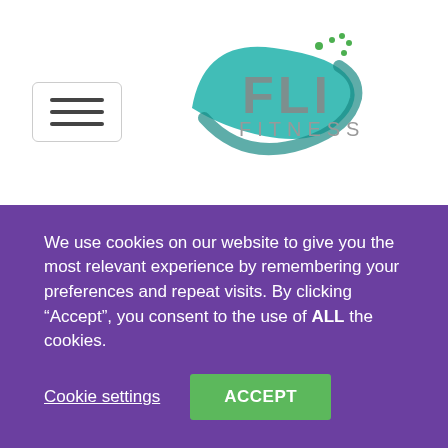[Figure (logo): FLI Fitness logo with teal swoosh/wave graphic and text 'FLI FITNESS']
coaches and body therapists, we listen to what you want from your training and classes and then tailor our expertise to help you, reassessing at regular intervals.
What Is Special About FLI Fitness?
At FLI Fitness, we specialise in coaching, training and
We use cookies on our website to give you the most relevant experience by remembering your preferences and repeat visits. By clicking “Accept”, you consent to the use of ALL the cookies.
Cookie settings
ACCEPT